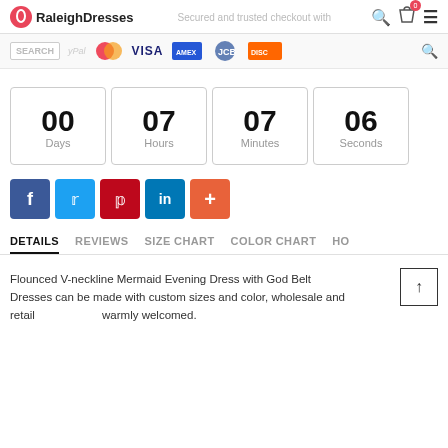RaleighDresses — Secured and trusted checkout with
[Figure (screenshot): Payment logos bar: PayPal, Mastercard, VISA, American Express, JCB, Discover with search input]
00 Days   07 Hours   07 Minutes   06 Seconds
[Figure (infographic): Social share buttons: Facebook, Twitter, Pinterest, LinkedIn, More (+)]
DETAILS   REVIEWS   SIZE CHART   COLOR CHART   HO
Flounced V-neckline Mermaid Evening Dress with God Belt
Dresses can be made with custom sizes and color, wholesale and retail warmly welcomed.